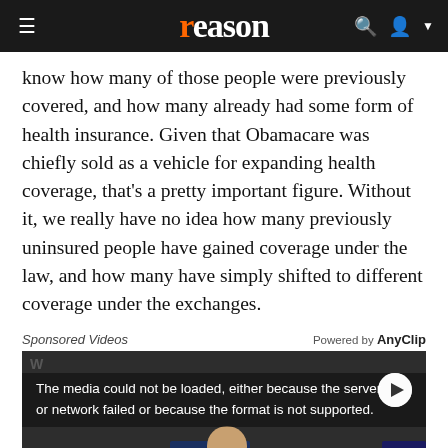reason
know how many of those people were previously covered, and how many already had some form of health insurance. Given that Obamacare was chiefly sold as a vehicle for expanding health coverage, that's a pretty important figure. Without it, we really have no idea how many previously uninsured people have gained coverage under the law, and how many have simply shifted to different coverage under the exchanges.
Sponsored Videos — Powered by AnyClip
[Figure (screenshot): Video player showing error message: 'The media could not be loaded, either because the server or network failed or because the format is not supported.' Background shows protest scene with signs reading ONE JOB, SHOULD BE, WE FEED THE WORLD, AMERICA. A close (X) button is visible in the center.]